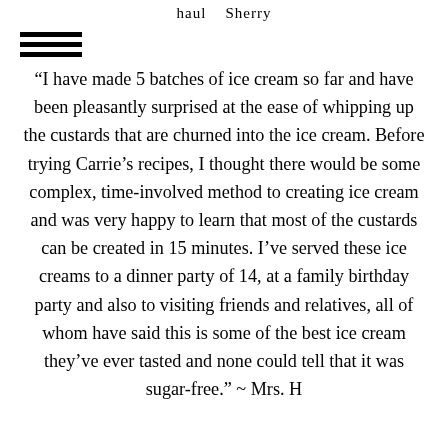haul   Sherry
[Figure (other): Three horizontal black lines stacked (hamburger menu icon)]
“I have made 5 batches of ice cream so far and have been pleasantly surprised at the ease of whipping up the custards that are churned into the ice cream. Before trying Carrie’s recipes, I thought there would be some complex, time-involved method to creating ice cream and was very happy to learn that most of the custards can be created in 15 minutes. I’ve served these ice creams to a dinner party of 14, at a family birthday party and also to visiting friends and relatives, all of whom have said this is some of the best ice cream they’ve ever tasted and none could tell that it was sugar-free.” ~ Mrs. H